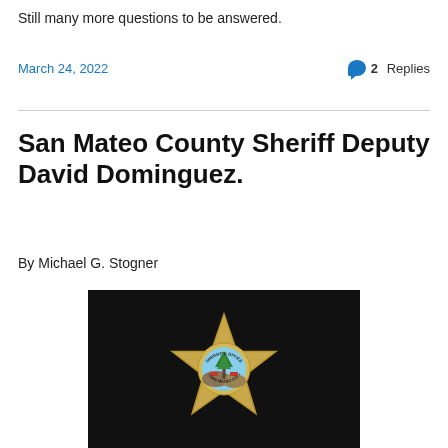Still many more questions to be answered.
March 24, 2022
2 Replies
San Mateo County Sheriff Deputy David Dominguez.
By Michael G. Stogner
[Figure (photo): A Sheriff's Office badge for San Mateo County, gold star shape with an circular center showing a tree and landscape scene, text reading SHERIFF'S OFFICE and SAN MATEO CO., photographed against a dark background.]